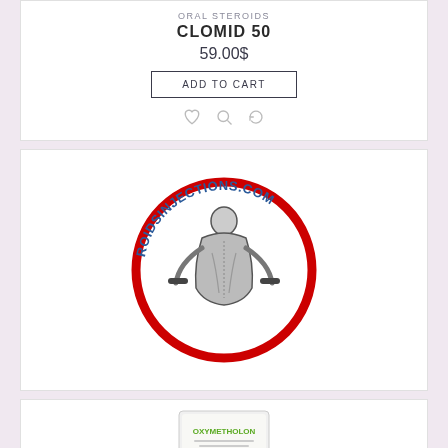ORAL STEROIDS
CLOMID 50
59.00$
ADD TO CART
[Figure (logo): ROIDSINJECTIONS.COM logo — circular red ring with a muscular bodybuilder figure in the center holding dumbbells, blue arc text reading ROIDSINJECTIONS.COM around the top]
[Figure (photo): Product image of OXYMETHOLON package — white/green packaging with green text and logo]